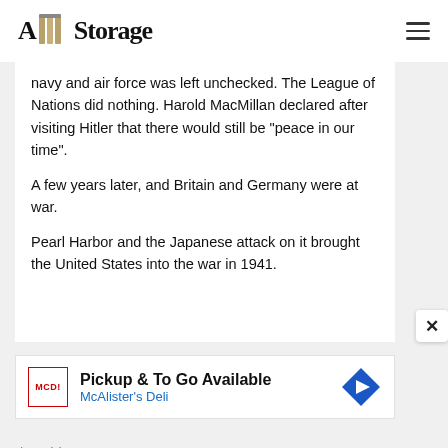A&M Storage
navy and air force was left unchecked. The League of Nations did nothing. Harold MacMillan declared after visiting Hitler that there would still be "peace in our time".
A few years later, and Britain and Germany were at war.
Pearl Harbor and the Japanese attack on it brought the United States into the war in 1941.
[Figure (infographic): Advertisement banner: McAlister's Deli - Pickup & To Go Available, with MCD logo and navigation diamond icon]